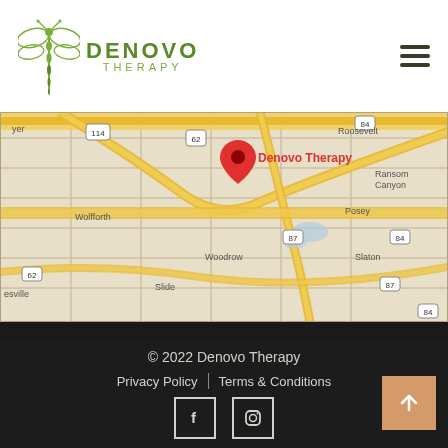[Figure (logo): Denovo Therapy logo with dragonfly icon and green text]
[Figure (map): Google Maps screenshot showing location of Denovo Therapy in Lubbock, Texas area with surrounding cities: Roosevelt, Ransom Canyon, Posey, Slaton, Woodrow, Slide, Wolfforth, Lubbock. Roads 114, 62, 84, 87 visible. Red pin marker labeled Denovo Therapy.]
© 2022 Denovo Therapy
Privacy Policy | Terms & Conditions